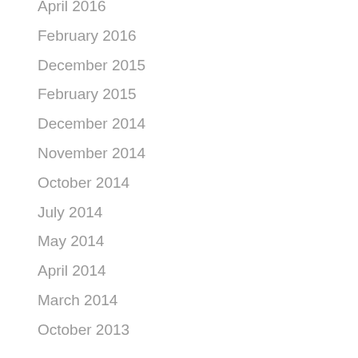April 2016
February 2016
December 2015
February 2015
December 2014
November 2014
October 2014
July 2014
May 2014
April 2014
March 2014
October 2013